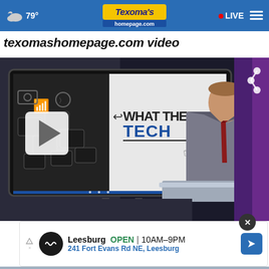Texoma's homepage.com | LIVE | 79°
texomashomepage.com video
[Figure (screenshot): Video player screenshot showing a TV news broadcast. A male news anchor in a grey suit and red tie stands at a desk. Behind him is a large monitor showing a graphic reading 'WHAT THE TECH?' with technology icons. A large play button overlay is visible. A share icon appears in the top right corner of the video.]
Leesburg  OPEN | 10AM–9PM  241 Fort Evans Rd NE, Leesburg